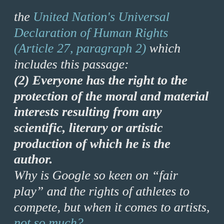the United Nation's Universal Declaration of Human Rights (Article 27, paragraph 2) which includes this passage: (2) Everyone has the right to the protection of the moral and material interests resulting from any scientific, literary or artistic production of which he is the author. Why is Google so keen on “fair play” and the rights of athletes to compete, but when it comes to artists, not so much?